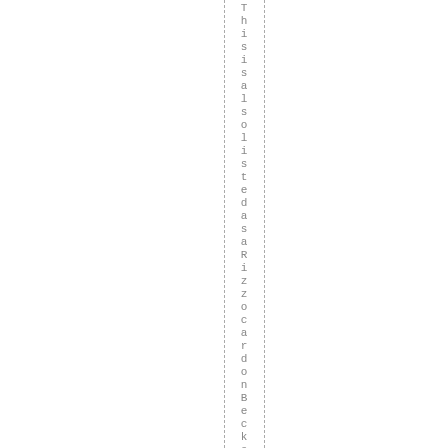This is also listed as a Rizzocardone Becket